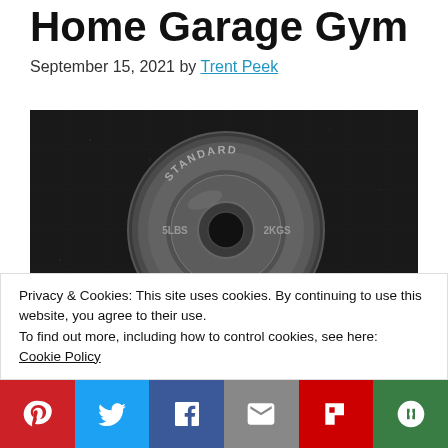Home Garage Gym
September 15, 2021 by Trent Peek
[Figure (photo): Black and white close-up photo of a standard weight plate (5 LBS / 2 KGS) lying on a dark rubber floor]
Privacy & Cookies: This site uses cookies. By continuing to use this website, you agree to their use.
To find out more, including how to control cookies, see here:
Cookie Policy